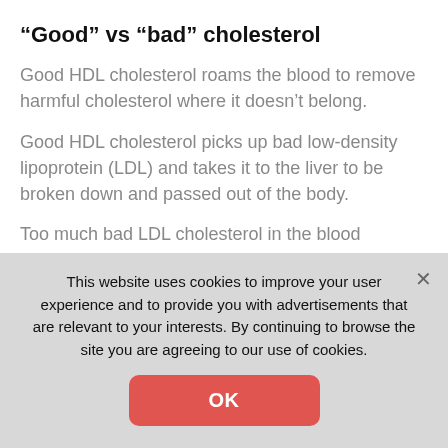“Good” vs “bad” cholesterol
Good HDL cholesterol roams the blood to remove harmful cholesterol where it doesn’t belong.
Good HDL cholesterol picks up bad low-density lipoprotein (LDL) and takes it to the liver to be broken down and passed out of the body.
Too much bad LDL cholesterol in the blood contributes to fatty buildups in the arteries – also known as atherosclerosis.
This website uses cookies to improve your user experience and to provide you with advertisements that are relevant to your interests. By continuing to browse the site you are agreeing to our use of cookies.